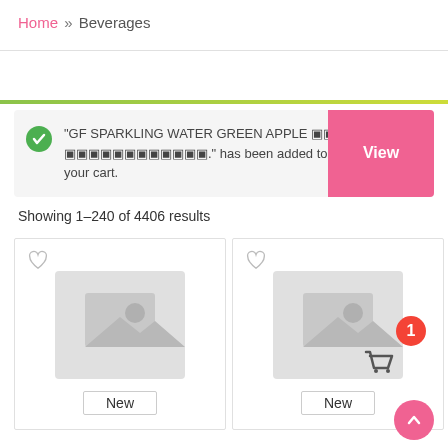Home » Beverages
"GF SPARKLING WATER GREEN APPLE 🍎 🍎🍎🍎🍎🍎🍎🍎🍎🍎🍎🍎🍎." has been added to your cart.
Showing 1–240 of 4406 results
[Figure (screenshot): Product card with placeholder image and New badge, left column]
[Figure (screenshot): Product card with placeholder image and New badge, right column, with cart icon and badge showing 1 item]